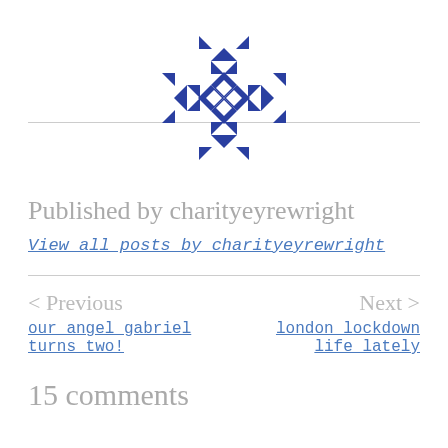[Figure (logo): Geometric snowflake-like logo made of blue triangles and diamond shapes arranged symmetrically]
Published by charityeyrewright
View all posts by charityeyrewright
< Previous
Next >
our angel gabriel turns two!
london lockdown life lately
15 comments